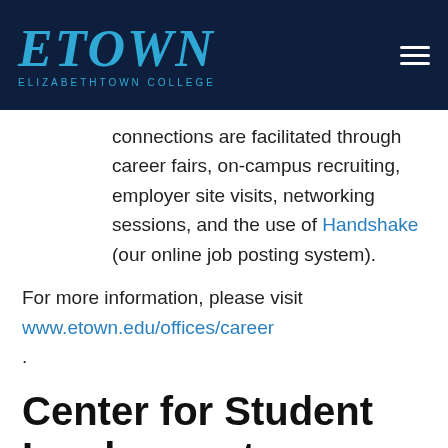[Figure (logo): Elizabethtown College ETOWN logo in blue on dark navy header with hamburger menu icon]
connections are facilitated through career fairs, on-campus recruiting, employer site visits, networking sessions, and the use of Handshake (our online job posting system).
For more information, please visit www.etown.edu/offices/career.
Center for Student Involvement
The Center for Student Involvement is a crossroads space for the many leadership, service